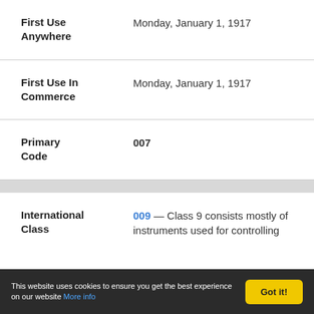| Field | Value |
| --- | --- |
| First Use Anywhere | Monday, January 1, 1917 |
| First Use In Commerce | Monday, January 1, 1917 |
| Primary Code | 007 |
| International Class | 009 — Class 9 consists mostly of instruments used for controlling |
This website uses cookies to ensure you get the best experience on our website More info
Got it!